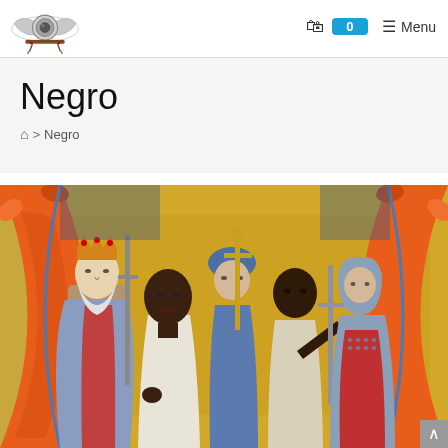Logo | Cart 0 | Menu
Negro
🏠 > Negro
[Figure (photo): Medieval illuminated manuscript illustration showing several figures including a crowned white-bearded king on the left, two dark-skinned men in the center, and armored figures holding swords, set against a gold background with decorative orange foliage border arches in red and orange.]